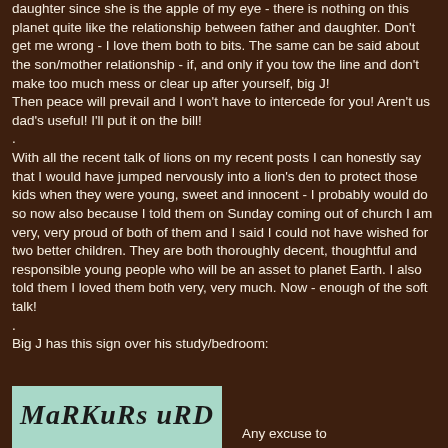daughter since she is the apple of my eye - there is nothing on this planet quite like the relationship between father and daughter. Don't get me wrong - I love them both to bits. The same can be said about the son/mother relationship - if, and only if you tow the line and don't make too much mess or clear up after yourself, big J!
Then peace will prevail and I won't have to intercede for you! Aren't us dad's useful! I'll put it on the bill!
.
With all the recent talk of lions on my recent posts I can honestly say that I would have jumped nervously into a lion's den to protect those kids when they were young, sweet and innocent - I probably would do so now also because I told them on Sunday coming out of church I am very, very proud of both of them and I said I could not have wished for two better children. They are both thoroughly decent, thoughtful and responsible young people who will be an asset to planet Earth. I also told them I loved them both very, very much. Now - enough of the soft talk!
.
Big J has this sign over his study/bedroom:
[Figure (photo): A sign with decorative lettering on a teal/mint background]
Any excuse to